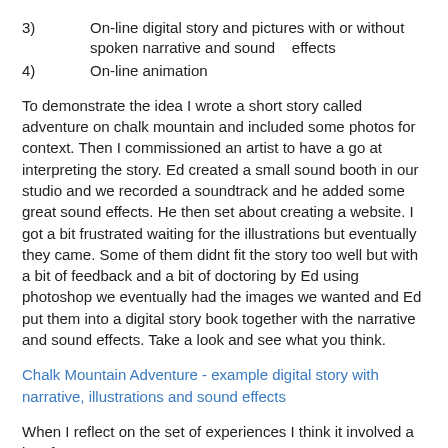3)  On-line digital story and pictures with or without spoken narrative and sound    effects
4)  On-line animation
To demonstrate the idea I wrote a short story called adventure on chalk mountain and included some photos for context. Then I commissioned an artist to have a go at interpreting the story. Ed created a small sound booth in our studio and we recorded a soundtrack and he added some great sound effects. He then set about creating a website. I got a bit frustrated waiting for the illustrations but eventually they came. Some of them didnt fit the story too well but with a bit of feedback and a bit of doctoring by Ed using photoshop we eventually had the images we wanted and Ed put them into a digital story book together with the narrative and sound effects. Take a look and see what you think.
Chalk Mountain Adventure - example digital story with narrative, illustrations and sound effects
When I reflect on the set of experiences I think it involved a lot of